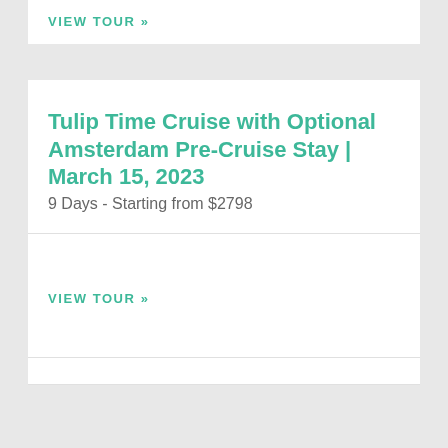VIEW TOUR »
Tulip Time Cruise with Optional Amsterdam Pre-Cruise Stay | March 15, 2023
9 Days - Starting from $2798
VIEW TOUR »